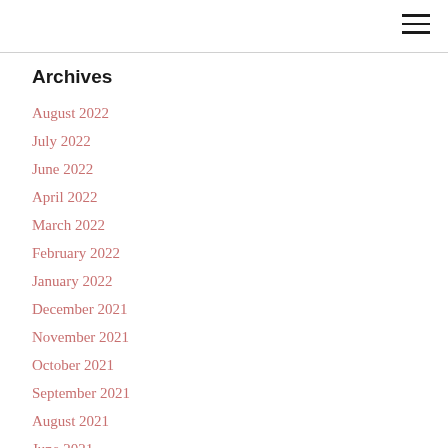Archives
August 2022
July 2022
June 2022
April 2022
March 2022
February 2022
January 2022
December 2021
November 2021
October 2021
September 2021
August 2021
June 2021
May 2021
April 2021